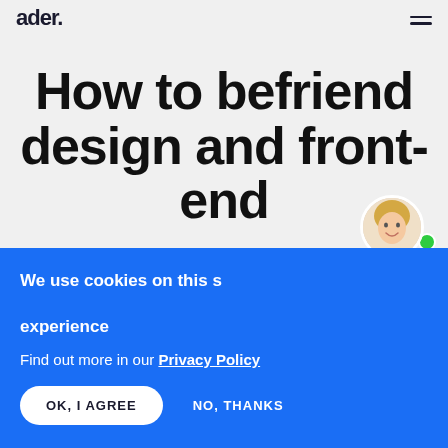ader. [logo] [hamburger menu]
How to befriend design and front-end
[Figure (screenshot): Chat widget with avatar of smiling woman, speech bubble saying 'Hi, care for a quick chat?' and a 'Yes' button with green online indicator]
We use cookies on this site to improve your experience
Find out more in our Privacy Policy
OK, I AGREE
NO, THANKS